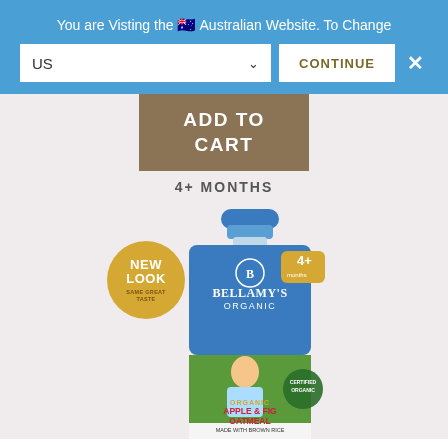You are Visting the 🇦🇺 Australian Website. To Change
US  ✓  CONTINUE  ✕
ADD TO CART
4+ MONTHS
[Figure (photo): Bellamy's Organic baby food pouch - Apple & Fig Oatmeal made with brown rice, 4+ months, with 'New Look Same Great Taste' badge and Certified Organic seal. Shows a smiling baby against a green field background.]